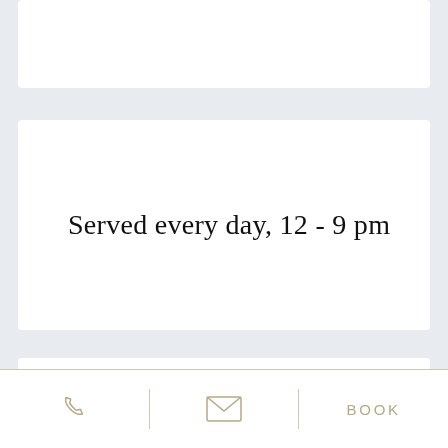Served every day, 12 - 9 pm
Snacks
Phone | Email | BOOK